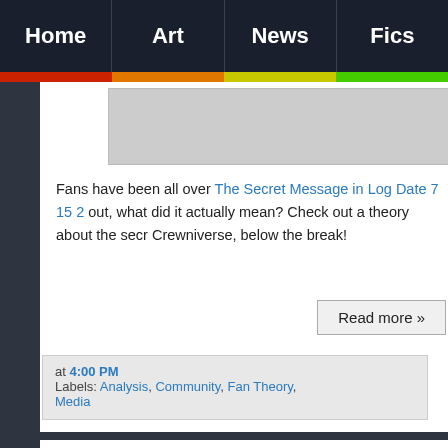Home | Art | News | Fics
[Figure (screenshot): Grey placeholder image area below navigation]
Fans have been all over The Secret Message in Log Date 7 15 2 out, what did it actually mean? Check out a theory about the secret Crewniverse, below the break!
Read more »
at 4:00 PM
Labels: Analysis, Community, Fan Theory, Media
Steven Universe Review - Fusion